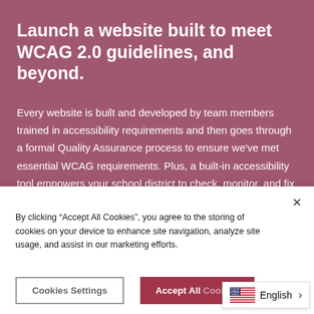Launch a website built to meet WCAG 2.0 guidelines, and beyond.
Every website is built and developed by team members trained in accessibility requirements and then goes through a formal Quality Assurance process to ensure we've met essential WCAG requirements. Plus, a built-in accessibility tool empowers your school district to check, monitor, and fix accessibility errors.
By clicking “Accept All Cookies”, you agree to the storing of cookies on your device to enhance site navigation, analyze site usage, and assist in our marketing efforts.
Cookies Settings
Accept All Cookies
English